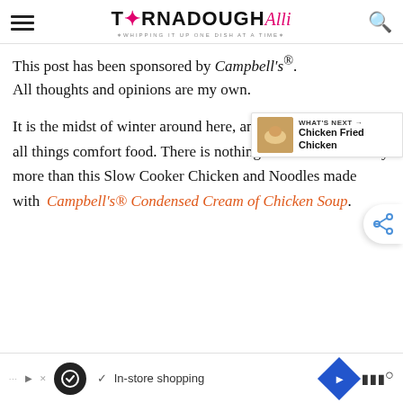TORNADOUGH Alli — Whipping it up one dish at a time
This post has been sponsored by Campbell's®. All thoughts and opinions are my own.
It is the midst of winter around here, and we are just wanting all things comfort food. There is nothing that warms the belly more than this Slow Cooker Chicken and Noodles made with Campbell's® Condensed Cream of Chicken Soup.
[Figure (other): WHAT'S NEXT arrow banner with Chicken Fried Chicken thumbnail]
[Figure (other): Advertisement bar with In-store shopping icons]